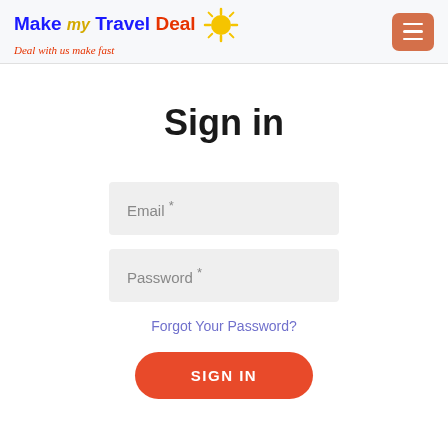Make my Travel Deal — Deal with us make fast
Sign in
Email *
Password *
Forgot Your Password?
SIGN IN